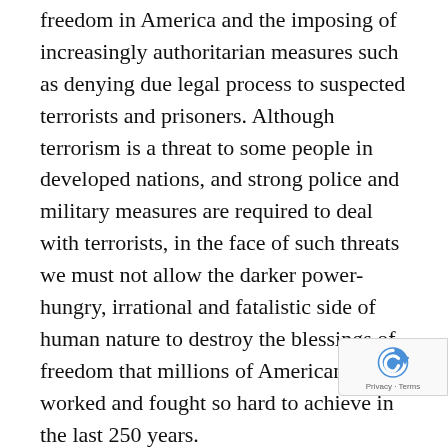freedom in America and the imposing of increasingly authoritarian measures such as denying due legal process to suspected terrorists and prisoners. Although terrorism is a threat to some people in developed nations, and strong police and military measures are required to deal with terrorists, in the face of such threats we must not allow the darker power-hungry, irrational and fatalistic side of human nature to destroy the blessings of freedom that millions of Americans have worked and fought so hard to achieve in the last 250 years.
In the past few years I have had more and more students in my classes with political agendas